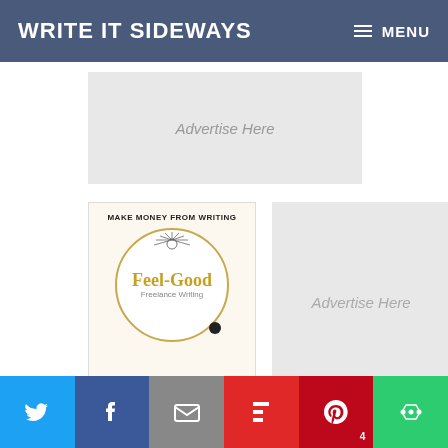WRITE IT SIDEWAYS  ☰ MENU
[Figure (other): Advertise Here banner placeholder, light gray rectangle]
[Figure (illustration): Book ad: MAKE MONEY FROM WRITING, Feel-Good Freelance Writing logo in circle on cream background]
[Figure (other): Advertise Here square placeholder, light gray rectangle]
Join us on social media
Twitter | Facebook | Email | Flipboard | Pinterest 4 | More